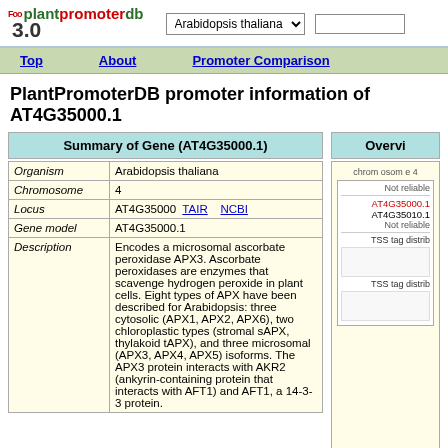plantpromoterdb 3.0 — Arabidopsis thaliana selector
Top | About | Promoter Comparison
PlantPromoterDB promoter information of AT4G35000.1
Summary of Gene (AT4G35000.1)
| Field | Value |
| --- | --- |
| Organism | Arabidopsis thaliana |
| Chromosome | 4 |
| Locus | AT4G35000  TAIR      NCBI |
| Gene model | AT4G35000.1 |
| Description | Encodes a microsomal ascorbate peroxidase APX3. Ascorbate peroxidases are enzymes that scavenge hydrogen peroxide in plant cells. Eight types of APX have been described for Arabidopsis: three cytosolic (APX1, APX2, APX6), two chloroplastic types (stromal sAPX, thylakoid tAPX), and three microsomal (APX3, APX4, APX5) isoforms. The APX3 protein interacts with AKR2 (ankyrin-containing protein that interacts with AFT1) and AFT1, a 14-3-3 protein. |
Overview
[Figure (screenshot): Overview panel showing chromosome 4 with gene positions including AT4G35000.1 (red), AT4G35010.1, Not reliable markers, and TSS tag distribution tracks]
Focused view (chromosome 4: 16668541-16667342)
| Genome position |
| --- |